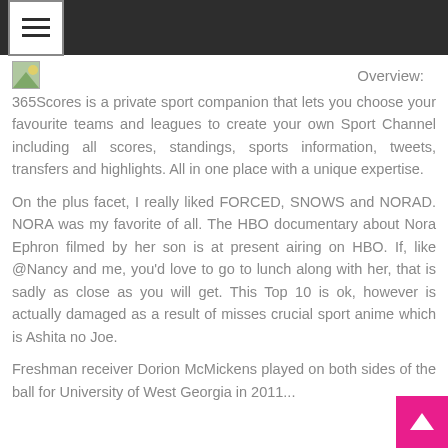Navigation menu bar with hamburger icon
Overview:
365Scores is a private sport companion that lets you choose your favourite teams and leagues to create your own Sport Channel including all scores, standings, sports information, tweets, transfers and highlights. All in one place with a unique expertise.
On the plus facet, I really liked FORCED, SNOWS and NORAD. NORA was my favorite of all. The HBO documentary about Nora Ephron filmed by her son is at present airing on HBO. If, like @Nancy and me, you'd love to go to lunch along with her, that is sadly as close as you will get. This Top 10 is ok, however is actually damaged as a result of misses crucial sport anime which is Ashita no Joe.
Freshman receiver Dorion McMickens played on both sides of the ball for University of West Georgia in 2011...